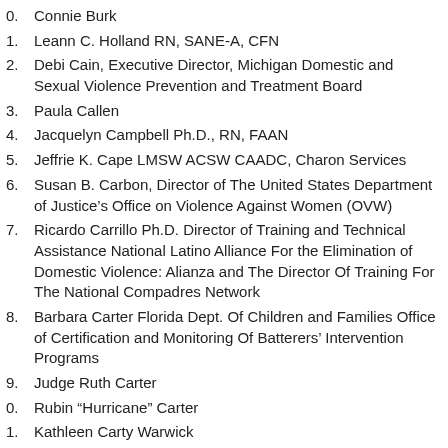0. Connie Burk
1. Leann C. Holland RN, SANE-A, CFN
2. Debi Cain, Executive Director, Michigan Domestic and Sexual Violence Prevention and Treatment Board
3. Paula Callen
4. Jacquelyn Campbell Ph.D., RN, FAAN
5. Jeffrie K. Cape LMSW ACSW CAADC, Charon Services
6. Susan B. Carbon, Director of The United States Department of Justice's Office on Violence Against Women (OVW)
7. Ricardo Carrillo Ph.D. Director of Training and Technical Assistance National Latino Alliance For the Elimination of Domestic Violence: Alianza and The Director Of Training For The National Compadres Network
8. Barbara Carter Florida Dept. Of Children and Families Office of Certification and Monitoring Of Batterers' Intervention Programs
9. Judge Ruth Carter
0. Rubin “Hurricane” Carter
1. Kathleen Carty Warwick
2. Mary Case
3. Susan E. Cayouette, Ed.D Co-Director Of Emerge
4. Charles W. Dahm, O.P.